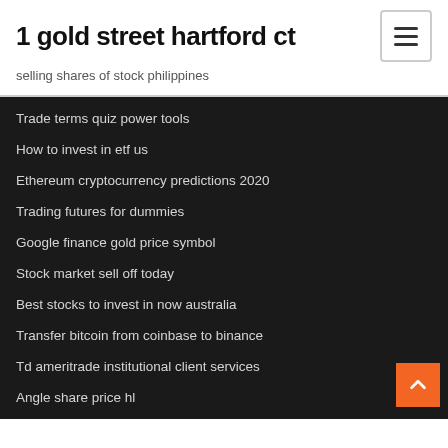1 gold street hartford ct
selling shares of stock philippines
Trade terms quiz power tools
How to invest in etf us
Ethereum cryptocurrency predictions 2020
Trading futures for dummies
Google finance gold price symbol
Stock market sell off today
Best stocks to invest in now australia
Transfer bitcoin from coinbase to binance
Td ameritrade institutional client services
Angle share price hl